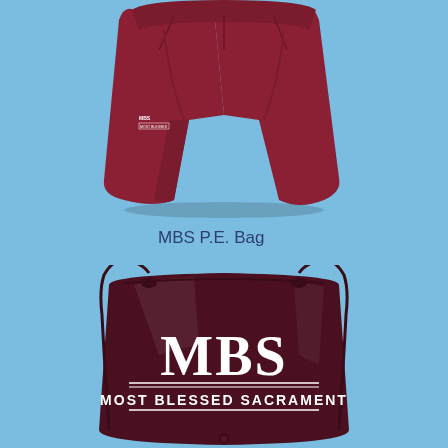[Figure (photo): Maroon/burgundy athletic shorts with MBS logo printed on the left leg, displayed on a light blue background]
MBS P.E. Bag
[Figure (photo): Dark maroon/burgundy drawstring PE bag with white MBS and MOST BLESSED SACRAMENT logo text printed on the front, displayed on a light blue background]